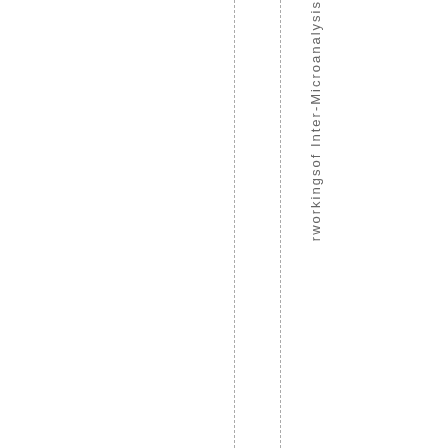rworkingsof Inter-Microanalysis